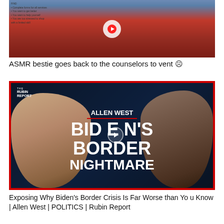[Figure (screenshot): Video thumbnail showing a woman in a red Christmas sweater in a classroom setting, with a play button overlay]
ASMR bestie goes back to the counselors to vent ☹
[Figure (screenshot): The Rubin Report thumbnail featuring Allen West. Dark blue background with two men's faces and text: ALLEN WEST / BIDEN'S BORDER NIGHTMARE. Red border frame.]
Exposing Why Biden's Border Crisis Is Far Worse than You Know | Allen West | POLITICS | Rubin Report